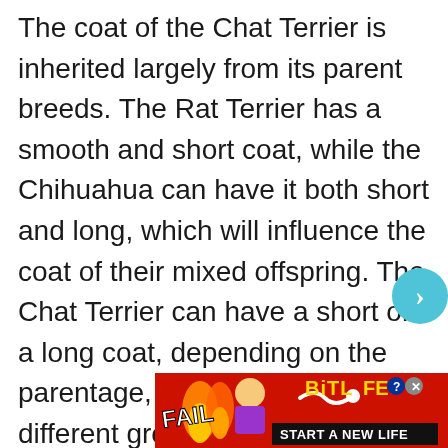The coat of the Chat Terrier is inherited largely from its parent breeds. The Rat Terrier has a smooth and short coat, while the Chihuahua can have it both short and long, which will influence the coat of their mixed offspring. The Chat Terrier can have a short or a long coat, depending on the parentage, and that can require different grooming routines. Short coat Chat Terriers are low maintenance with occasional brushing and baths, and those with flowy locks need daily brushing to keep their silky hair free of mats and tangles. As for the coat colors, the general variations are black, white,
[Figure (other): Advertisement banner for BitLife game with red/fire background, FAIL text, cartoon character, flame graphics, BitLife logo in gold, and 'START A NEW LIFE' tagline]